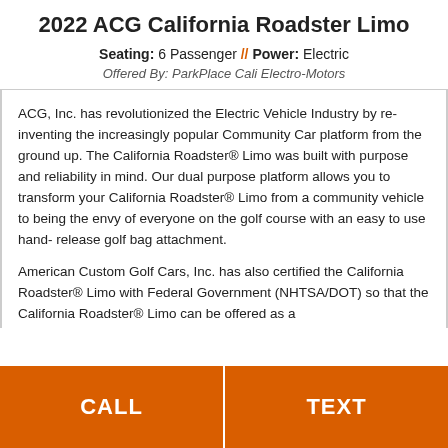2022 ACG California Roadster Limo
Seating: 6 Passenger // Power: Electric
Offered By: ParkPlace Cali Electro-Motors
ACG, Inc. has revolutionized the Electric Vehicle Industry by reinventing the increasingly popular Community Car platform from the ground up. The California Roadster® Limo was built with purpose and reliability in mind. Our dual purpose platform allows you to transform your California Roadster® Limo from a community vehicle to being the envy of everyone on the golf course with an easy to use hand- release golf bag attachment.
American Custom Golf Cars, Inc. has also certified the California Roadster® Limo with Federal Government (NHTSA/DOT) so that the California Roadster® Limo can be offered as a
CALL
TEXT